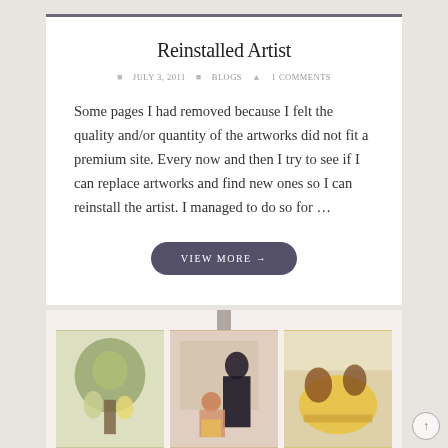Reinstalled Artist
JULY 3, 2011  BLOGS  1 COMMENTS
Some pages I had removed because I felt the quality and/or quantity of the artworks did not fit a premium site. Every now and then I try to see if I can replace artworks and find new ones so I can reinstall the artist. I managed to do so for …
VIEW MORE →
[Figure (illustration): Three artwork thumbnail images in a gallery strip below the blog post: left image shows green/yellow illustrated figures near a tree, center image shows a woman in a dark dress with a kneeling figure in pinkish tones, right image shows yellow and brown illustrated scene.]